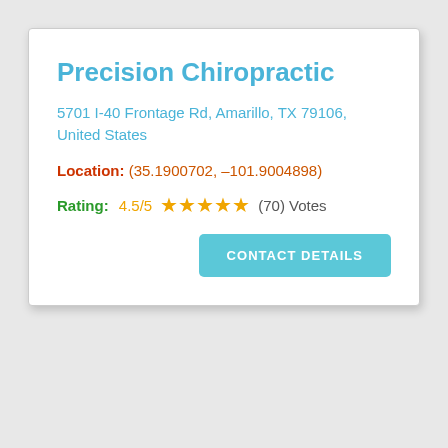Precision Chiropractic
5701 I-40 Frontage Rd, Amarillo, TX 79106, United States
Location: (35.1900702, -101.9004898)
Rating: 4.5/5 ★★★★★ (70) Votes
CONTACT DETAILS